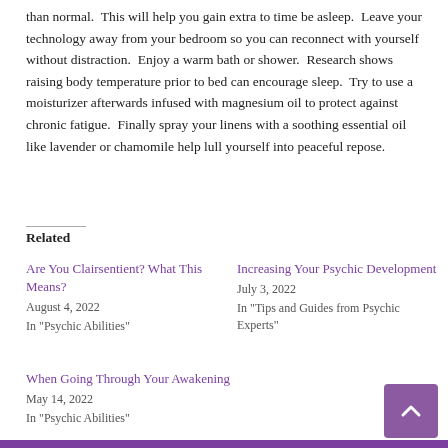than normal. This will help you gain extra to time be asleep. Leave your technology away from your bedroom so you can reconnect with yourself without distraction. Enjoy a warm bath or shower. Research shows raising body temperature prior to bed can encourage sleep. Try to use a moisturizer afterwards infused with magnesium oil to protect against chronic fatigue. Finally spray your linens with a soothing essential oil like lavender or chamomile help lull yourself into peaceful repose.
Related
Are You Clairsentient? What This Means?
August 4, 2022
In "Psychic Abilities"
Increasing Your Psychic Development
July 3, 2022
In "Tips and Guides from Psychic Experts"
When Going Through Your Awakening
May 14, 2022
In "Psychic Abilities"